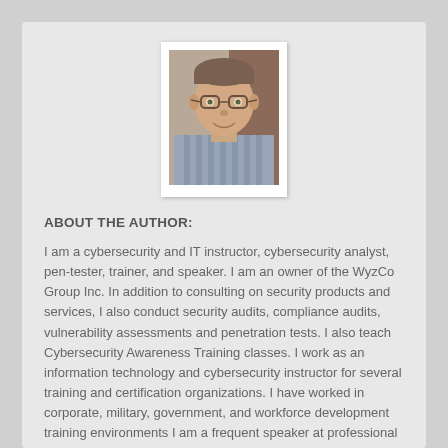[Figure (photo): Headshot photo of a middle-aged man wearing glasses and a striped shirt, smiling, displayed in a white polaroid-style frame]
ABOUT THE AUTHOR:
I am a cybersecurity and IT instructor, cybersecurity analyst, pen-tester, trainer, and speaker. I am an owner of the WyzCo Group Inc. In addition to consulting on security products and services, I also conduct security audits, compliance audits, vulnerability assessments and penetration tests. I also teach Cybersecurity Awareness Training classes. I work as an information technology and cybersecurity instructor for several training and certification organizations. I have worked in corporate, military, government, and workforce development training environments I am a frequent speaker at professional conferences such as the Minnesota Bloggers Conference,